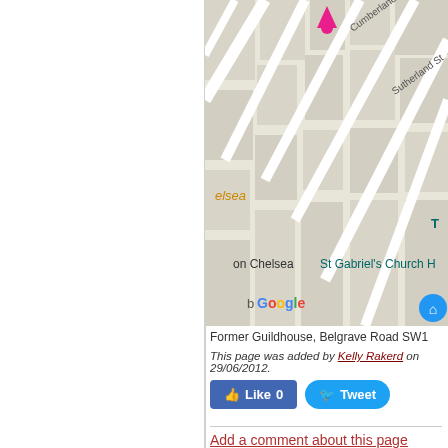[Figure (screenshot): Google Maps screenshot showing area around Former Guildhouse, Belgrave Road SW1, with street labels including Cumberland St, Sutherland St, Chelsea, St Gabriel's Church H, and a Google logo]
Former Guildhouse, Belgrave Road SW1
This page was added by Kelly Rakerd on 29/06/2012.
[Figure (other): Facebook Like button showing Like 0]
[Figure (other): Twitter Tweet button]
Add a comment about this page
About us   Sitemap   Accessibility   Privacy   Terms of use
Designed and built by Community Sites
City of Wes